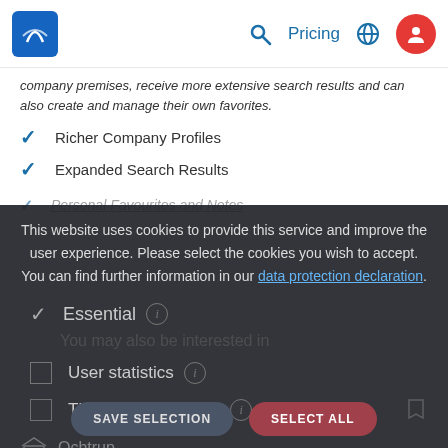Pricing
company premises, receive more extensive search results and can also create and manage their own favorites.
Richer Company Profiles
Expanded Search Results
Personal Favourites and Notes
This website uses cookies to provide this service and improve the user experience. Please select the cookies you wish to accept. You can find further information in our data protection declaration.
Essential
User statistics
Third Party Tracking
You may also be interested in
Ochtrup